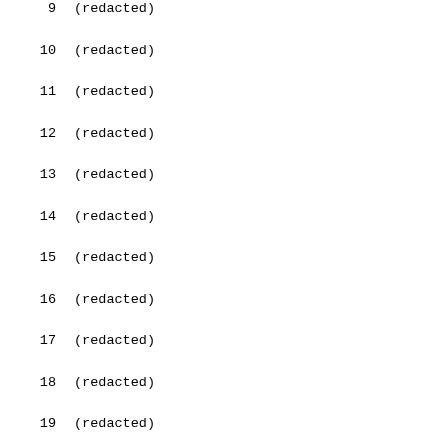9    (redacted)
10    (redacted)
11    (redacted)
12    (redacted)
13    (redacted)
14    (redacted)
15    (redacted)
16    (redacted)
17    (redacted)
18    (redacted)
19    (redacted)